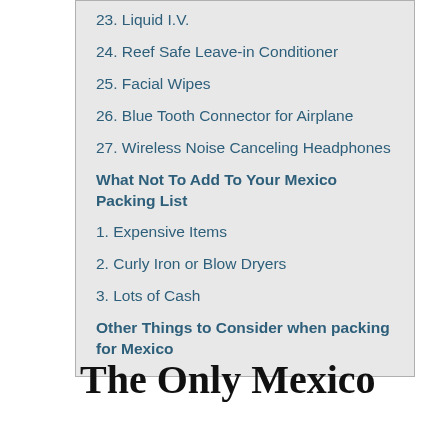23. Liquid I.V.
24. Reef Safe Leave-in Conditioner
25. Facial Wipes
26. Blue Tooth Connector for Airplane
27. Wireless Noise Canceling Headphones
What Not To Add To Your Mexico Packing List
1. Expensive Items
2. Curly Iron or Blow Dryers
3. Lots of Cash
Other Things to Consider when packing for Mexico
The Only Mexico